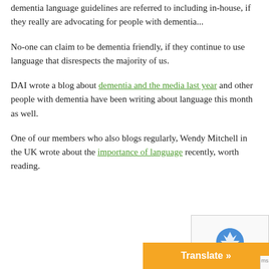dementia language guidelines are referred to including in-house, if they really are advocating for people with dementia...
No-one can claim to be dementia friendly, if they continue to use language that disrespects the majority of us.
DAI wrote a blog about dementia and the media last year and other people with dementia have been writing about language this month as well.
One of our members who also blogs regularly, Wendy Mitchell in the UK wrote about the importance of language recently, worth reading.